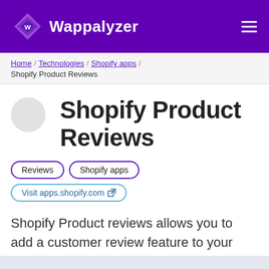Wappalyzer
Home / Technologies / Shopify apps / Shopify Product Reviews
Shopify Product Reviews
Reviews
Shopify apps
Visit apps.shopify.com
Shopify Product reviews allows you to add a customer review feature to your products.